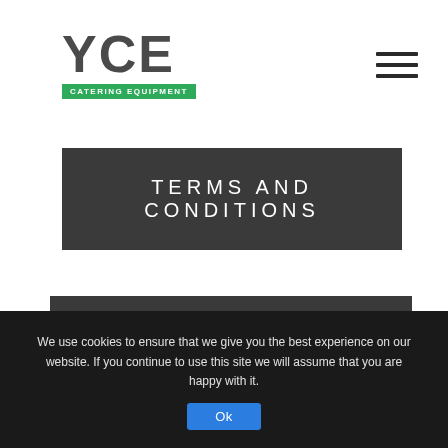[Figure (logo): YCE Catering Equipment logo — large bold grey letters 'YCE' above a green badge reading 'CATERING EQUIPMENT']
TERMS AND CONDITIONS
WELCOME TO YCE CATERING EQUIPMENT
We use cookies to ensure that we give you the best experience on our website. If you continue to use this site we will assume that you are happy with it.
Ok